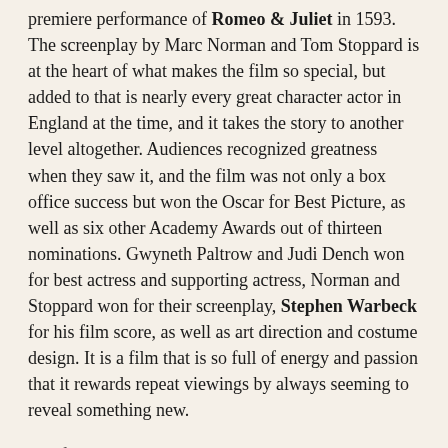premiere performance of Romeo & Juliet in 1593. The screenplay by Marc Norman and Tom Stoppard is at the heart of what makes the film so special, but added to that is nearly every great character actor in England at the time, and it takes the story to another level altogether. Audiences recognized greatness when they saw it, and the film was not only a box office success but won the Oscar for Best Picture, as well as six other Academy Awards out of thirteen nominations. Gwyneth Paltrow and Judi Dench won for best actress and supporting actress, Norman and Stoppard won for their screenplay, Stephen Warbeck for his film score, as well as art direction and costume design. It is a film that is so full of energy and passion that it rewards repeat viewings by always seeming to reveal something new.
The film opens with text telling the audience there are two competing theaters in Elizabethan London, The Curtain and The Rose. Geoffrey Rush, the owner of The Rose, is having cash flow problems and creditor Tom Wilkinson is seriously considering having him killed. But Rush tells him he has a new play by Will Shakespeare . . . and Wilkinson wants to kill him even more. But when Rush tells him he'll make him